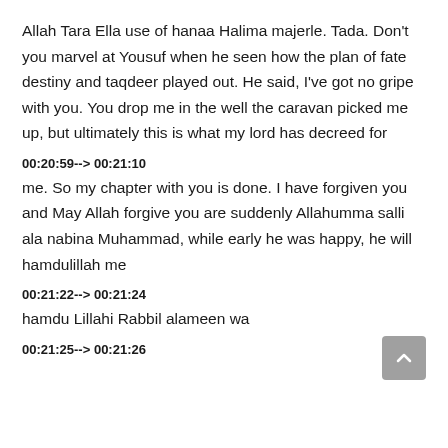Allah Tara Ella use of hanaa Halima majerle. Tada. Don't you marvel at Yousuf when he seen how the plan of fate destiny and taqdeer played out. He said, I've got no gripe with you. You drop me in the well the caravan picked me up, but ultimately this is what my lord has decreed for
00:20:59--> 00:21:10
me. So my chapter with you is done. I have forgiven you and May Allah forgive you are suddenly Allahumma salli ala nabina Muhammad, while early he was happy, he will hamdulillah me
00:21:22--> 00:21:24
hamdu Lillahi Rabbil alameen wa
00:21:25--> 00:21:26